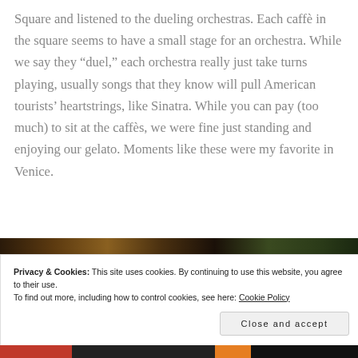Square and listened to the dueling orchestras. Each caffè in the square seems to have a small stage for an orchestra. While we say they "duel," each orchestra really just take turns playing, usually songs that they know will pull American tourists' heartstrings, like Sinatra. While you can pay (too much) to sit at the caffès, we were fine just standing and enjoying our gelato. Moments like these were my favorite in Venice.
[Figure (photo): A dark, partially visible image strip at the bottom of the article content, appearing to show an outdoor evening scene.]
Privacy & Cookies: This site uses cookies. By continuing to use this website, you agree to their use.
To find out more, including how to control cookies, see here: Cookie Policy
Close and accept